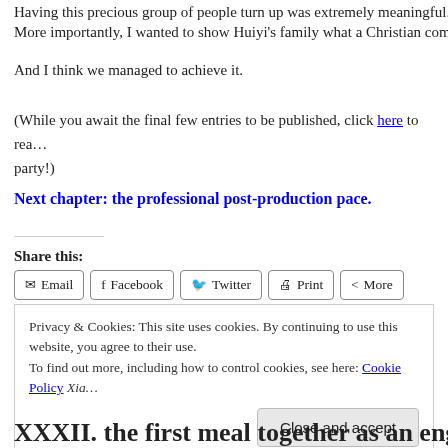Having this precious group of people turn up was extremely meaningful. More importantly, I wanted to show Huiyi's family what a Christian com…
And I think we managed to achieve it.
(While you await the final few entries to be published, click here to read… party!)
Next chapter: the professional post-production pace.
Share this:
Email  Facebook  Twitter  Print  More
Loading...
Privacy & Cookies: This site uses cookies. By continuing to use this website, you agree to their use. To find out more, including how to control cookies, see here: Cookie Policy
Close and accept
XXXII. the first meal together as an enga…